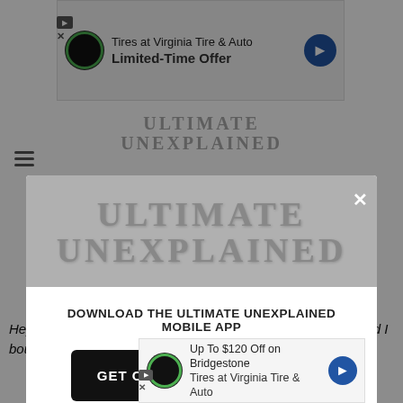[Figure (screenshot): Mobile app website screenshot showing Ultimate Unexplained logo and navigation, with an ad banner for Virginia Tire & Auto at the top]
[Figure (screenshot): Modal popup overlay showing Ultimate Unexplained logo and a call-to-action to download the mobile app with a 'GET OUR FREE MOBILE APP' button]
Hey He's a Maine Man. He was always my favorite author and I bought house for the re
[Figure (screenshot): Bottom ad banner: Up To $120 Off on Bridgestone Tires at Virginia Tire & Auto]